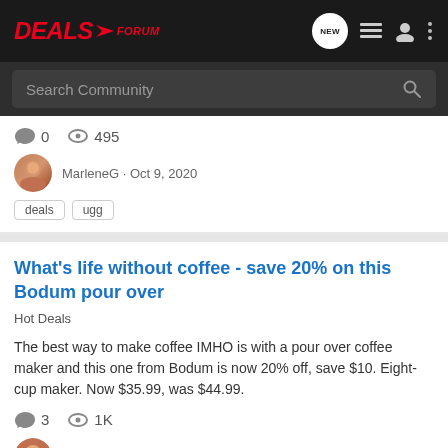DEALS FORUM
Search Community
0  495  MarleneG · Oct 9, 2020  deals  ugg
What's life without coffee - save 20% on this Bodum pour over
Hot Deals
The best way to make coffee IMHO is with a pour over coffee maker and this one from Bodum is now 20% off, save $10. Eight-cup maker. Now $35.99, was $44.99.
3  1K  MarleneG · Oct 6, 2020